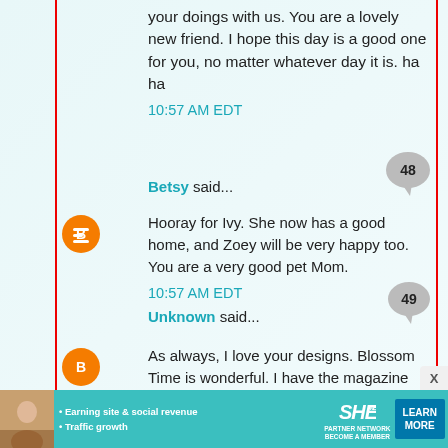your doings with us. You are a lovely new friend. I hope this day is a good one for you, no matter whatever day it is. ha ha
10:57 AM EDT
Betsy said...
Hooray for Ivy. She now has a good home, and Zoey will be very happy too. You are a very good pet Mom.
10:57 AM EDT
Unknown said...
As always, I love your designs. Blossom Time is wonderful. I have the magazine and am looking forward to digging it out. Love the pictures of Ivy. If I could, I would have a cat, but too many people in my family are allergic. Nancy A: SewingGranda@gmail.com
[Figure (infographic): SHE Partner Network advertisement banner with woman's photo, bullet points about earning site & social revenue and traffic growth, SHE media logo, and Learn More button]